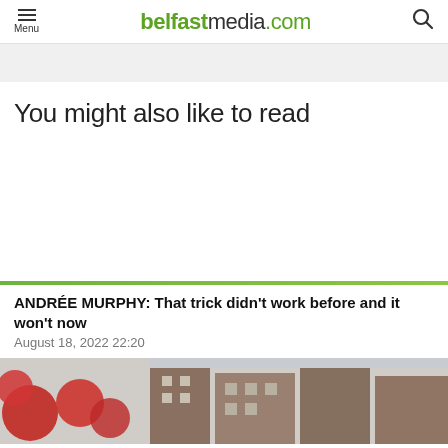Menu | belfastmedia.com
[Figure (other): Gray advertisement banner placeholder]
You might also like to read
ANDRÉE MURPHY: That trick didn't work before and it won't now
August 18, 2022 22:20
[Figure (photo): Street scene with red balloons or decorations on the left and brick buildings on the right]